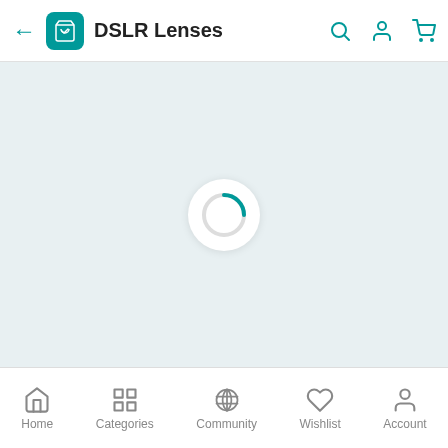DSLR Lenses
[Figure (screenshot): Loading spinner (circular progress indicator) centered on a light blue-gray background]
Home  Categories  Community  Wishlist  Account